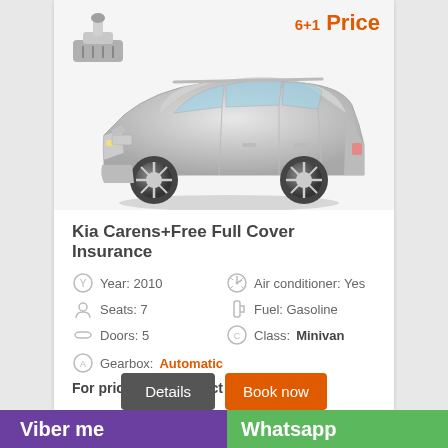[Figure (photo): Silver Kia Carens minivan car, 3/4 front view, with a gear shift icon in top left corner and '6+1 Price' label in red top right]
Kia Carens+Free Full Cover Insurance
Year: 2010
Air conditioner: Yes
Seats: 7
Fuel: Gasoline
Doors: 5
Class: Minivan
Gearbox: Automatic
For price please select date!
Details
Book now
Viber me   Whatsapp